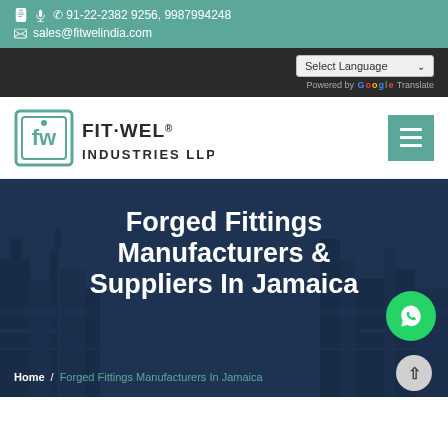91-22-2382 9256, 9987994248 | sales@fitwelindia.com
[Figure (logo): Fit-Wel Industries LLP logo with square FW emblem in teal and black text]
Forged Fittings Manufacturers & Suppliers In Jamaica
Home / Forged Fittings Manufacturers In Jamaica